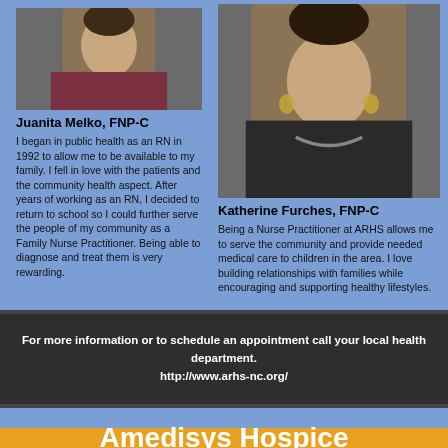[Figure (photo): Headshot photo of Juanita Melko, FNP-C]
Juanita Melko, FNP-C
I began in public health as an RN in 1992 to allow me to be available to my family. I fell in love with the patients and the community health aspect. After years of working as an RN, I decided to return to school so I could further serve the people of my community as a Family Nurse Practitioner. Being able to diagnose and treat them is very rewarding.
[Figure (photo): Headshot photo of Katherine Furches, FNP-C]
Katherine Furches, FNP-C
Being a Nurse Practitioner at ARHS allows me to serve the community and provide needed medical care to children in the area. I love building relationships with families while encouraging and supporting healthy lifestyles.
For more information or to schedule an appointment call your local health department.
http://www.arhs-nc.org/
Amedisys Hospice